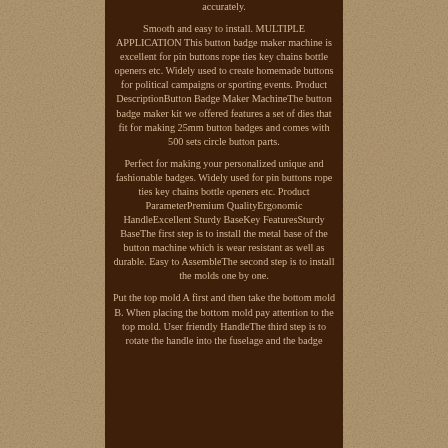accurately. Smooth and easy to install. MULTIPLE APPLICATION This button badge maker machine is excellent for pin buttons rope ties key chains bottle openers etc. Widely used to create homemade buttons for political campaigns or sporting events. Product DescriptionButton Badge Maker MachineThe button badge maker kit we offered features a set of dies that fit for making 25mm button badges and comes with 500 sets circle button parts.

Perfect for making your personalized unique and fashionable badges. Widely used for pin buttons rope ties key chains bottle openers etc. Product ParameterPremium QualityErgonomic HandleExcellent Sturdy BaseKey FeaturesSturdy BaseThe first step is to install the metal base of the button machine which is wear resistant as well as durable. Easy to AssembleThe second step is to install the molds one by one.

Put the top mold A first and then take the bottom mold B. When placing the bottom mold pay attention to the top mold. User friendly HandleThe third step is to rotate the handle into the fuselage and the badge machine is installed. The fourth step is to use the